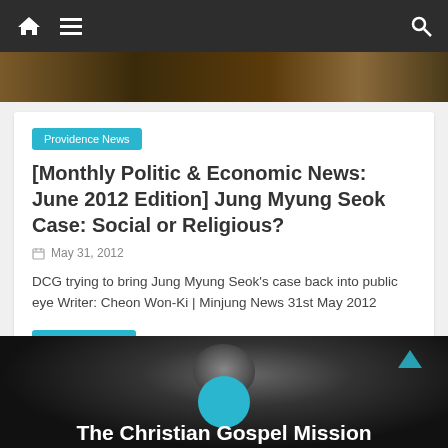Navigation bar with home, menu, and search icons
[Figure (photo): Dark brown/gold hero image strip at top of page]
Providence News
[Monthly Politic & Economic News: June 2012 Edition] Jung Myung Seok Case: Social or Religious?
May 31, 2012
DCG trying to bring Jung Myung Seok's case back into public eye Writer: Cheon Won-Ki | Minjung News 31st May 2012
Read more
[Figure (photo): Dark image with rock/stone silhouette and teal circle badge at bottom of page, partial article title visible]